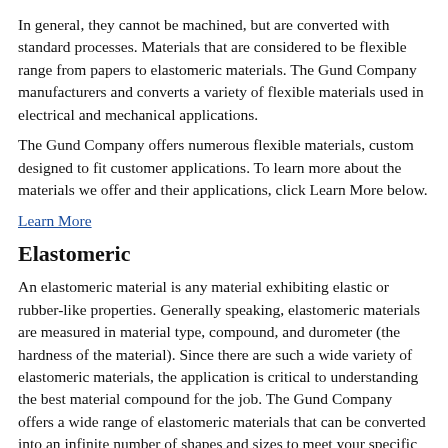In general, they cannot be machined, but are converted with standard processes. Materials that are considered to be flexible range from papers to elastomeric materials. The Gund Company manufacturers and converts a variety of flexible materials used in electrical and mechanical applications.
The Gund Company offers numerous flexible materials, custom designed to fit customer applications. To learn more about the materials we offer and their applications, click Learn More below.
Learn More
Elastomeric
An elastomeric material is any material exhibiting elastic or rubber-like properties. Generally speaking, elastomeric materials are measured in material type, compound, and durometer (the hardness of the material). Since there are such a wide variety of elastomeric materials, the application is critical to understanding the best material compound for the job. The Gund Company offers a wide range of elastomeric materials that can be converted into an infinite number of shapes and sizes to meet your specific application.
Learn More